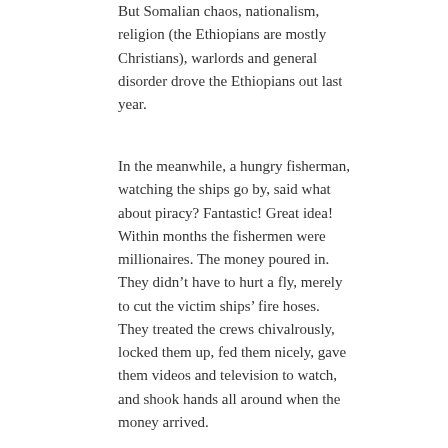But Somalian chaos, nationalism, religion (the Ethiopians are mostly Christians), warlords and general disorder drove the Ethiopians out last year.
In the meanwhile, a hungry fisherman, watching the ships go by, said what about piracy? Fantastic! Great idea! Within months the fishermen were millionaires. The money poured in. They didn't have to hurt a fly, merely to cut the victim ships' fire hoses. They treated the crews chivalrously, locked them up, fed them nicely, gave them videos and television to watch, and shook hands all around when the money arrived.
American diplomats today are reported to be keen to take over from the military in putting order back into the world. Why not a big international effort to get an EU, UN or NATO-policed agreement governing who can fish in Somalian waters; one more try to put together a provisional government, an agreement by the big countries and Somalia's neighbors to keep their hands off, and to let the Somalians be Muslim fundamentalists if that is what they want?